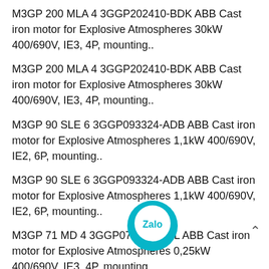M3GP 200 MLA 4 3GGP202410-BDK ABB Cast iron motor for Explosive Atmospheres 30kW 400/690V, IE3, 4P, mounting..
M3GP 200 MLA 4 3GGP202410-BDK ABB Cast iron motor for Explosive Atmospheres 30kW 400/690V, IE3, 4P, mounting..
M3GP 90 SLE 6 3GGP093324-ADB ABB Cast iron motor for Explosive Atmospheres 1,1kW 400/690V, IE2, 6P, mounting..
M3GP 90 SLE 6 3GGP093324-ADB ABB Cast iron motor for Explosive Atmospheres 1,1kW 400/690V, IE2, 6P, mounting..
M3GP 71 MD 4 3GGP072340-ADL ABB Cast iron motor for Explosive Atmospheres 0,25kW 400/690V, IE3, 4P, mounting..
M3GP 71 MD 4 3GGP072340-ADL ABB Cast iron motor for Explosive Atmospheres 0,25kW 400/690V, IE3, 4P, mounting..
[Figure (logo): Zalo circular chat app logo badge in teal/cyan color]